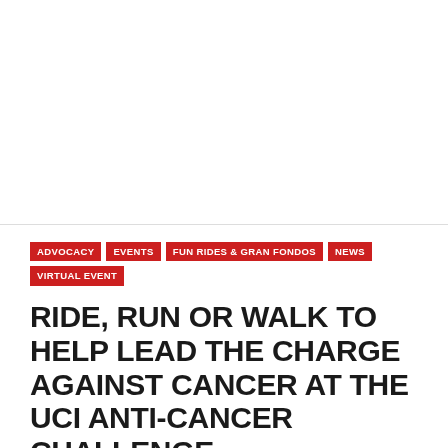[Figure (photo): Large photograph area at the top half of the page (content not visible in this render)]
ADVOCACY
EVENTS
FUN RIDES & GRAN FONDOS
NEWS
VIRTUAL EVENT
RIDE, RUN OR WALK TO HELP LEAD THE CHARGE AGAINST CANCER AT THE UCI ANTI-CANCER CHALLENGE